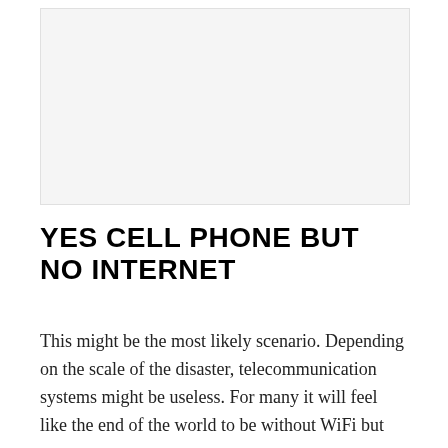[Figure (photo): Blank/light gray image placeholder area at the top of the page]
YES CELL PHONE BUT NO INTERNET
This might be the most likely scenario. Depending on the scale of the disaster, telecommunication systems might be useless. For many it will feel like the end of the world to be without WiFi but now